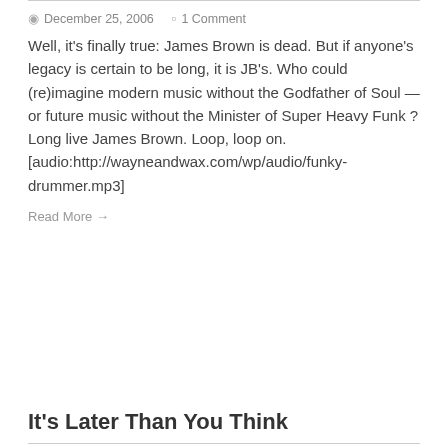December 25, 2006   1 Comment
Well, it's finally true: James Brown is dead. But if anyone's legacy is certain to be long, it is JB's. Who could (re)imagine modern music without the Godfather of Soul — or future music without the Minister of Super Heavy Funk ? Long live James Brown. Loop, loop on. [audio:http://wayneandwax.com/wp/audio/funky-drummer.mp3]
Read More →
It's Later Than You Think
December 24, 2006   No Comments